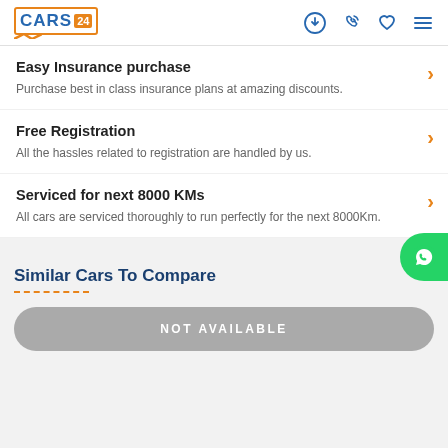CARS 24
Easy Insurance purchase — Purchase best in class insurance plans at amazing discounts.
Free Registration — All the hassles related to registration are handled by us.
Serviced for next 8000 KMs — All cars are serviced thoroughly to run perfectly for the next 8000Km.
Similar Cars To Compare
NOT AVAILABLE